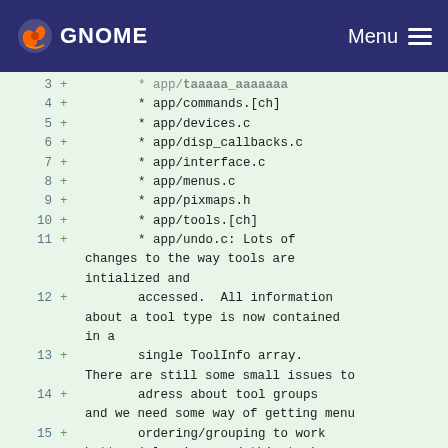GNOME  Menu
3  +        * app/taaaaa_aaaaaaa
4  +        * app/commands.[ch]
5  +        * app/devices.c
6  +        * app/disp_callbacks.c
7  +        * app/interface.c
8  +        * app/menus.c
9  +        * app/pixmaps.h
10 +        * app/tools.[ch]
11 +        * app/undo.c: Lots of
           changes to the way tools are
           intialized and
12 +        accessed.  All information
           about a tool type is now contained
           in a
13 +        single ToolInfo array.
           There are still some small issues to
14 +        adress about tool groups
           and we need some way of getting menu
15 +        ordering/grouping to work
           better (plug-ins need this too).
           There.